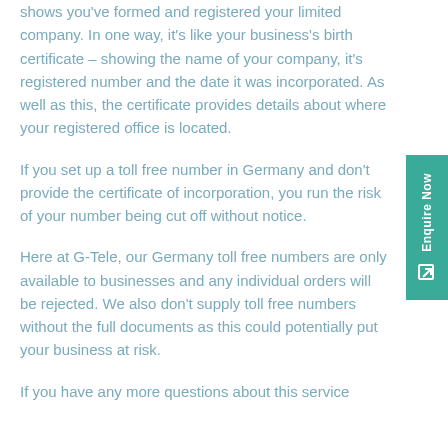shows you've formed and registered your limited company. In one way, it's like your business's birth certificate – showing the name of your company, it's registered number and the date it was incorporated. As well as this, the certificate provides details about where your registered office is located.
If you set up a toll free number in Germany and don't provide the certificate of incorporation, you run the risk of your number being cut off without notice.
Here at G-Tele, our Germany toll free numbers are only available to businesses and any individual orders will be rejected. We also don't supply toll free numbers without the full documents as this could potentially put your business at risk.
If you have any more questions about this service